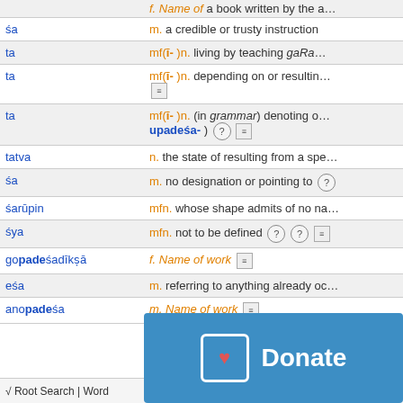| Entry | Definition |
| --- | --- |
| (partial) | f. Name of a book written by the a… |
| śa | m. a credible or trusty instruction |
| ta | mf(ī- )n. living by teaching gaRa… |
| ta | mf(ī- )n. depending on or resulting… [icon] |
| ta | mf(ī- )n. (in grammar) denoting o… upadeśa- ) [?][icon] |
| tatva | n. the state of resulting from a spe… |
| śa | m. no designation or pointing to [?] |
| śarūpin | mfn. whose shape admits of no na… |
| śya | mfn. not to be defined [?][?][icon] |
| gopadeśadīkṣā | f. Name of work [icon] |
| eśa | m. referring to anything already oc… |
| anopadeśa | m. Name of work |
[Figure (screenshot): Donate button overlay in blue with heart icon]
√ Root Search | Word    Help